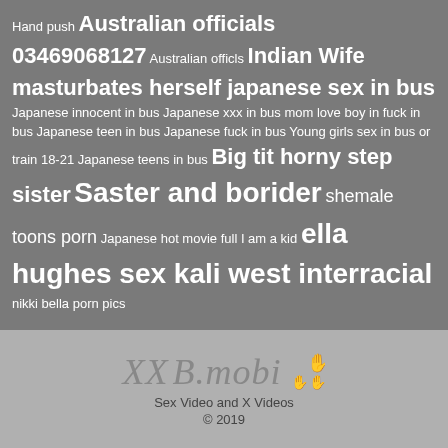Hand push Australian officials 03469068127 Australian officls Indian Wife masturbates herself japanese sex in bus Japanese innocent in bus Japanese xxx in bus mom love boy in fuck in bus Japanese teen in bus Japanese fuck in bus Young girls sex in bus or train 18-21 Japanese teens in bus Big tit horny step sister Saster and borider shemale toons porn Japanese hot movie full I am a kid ella hughes sex kali west interracial nikki bella porn pics
[Figure (logo): XXB.mobi logo with colorful hand/star icon, text 'Sex Video and X Videos', copyright 2019]